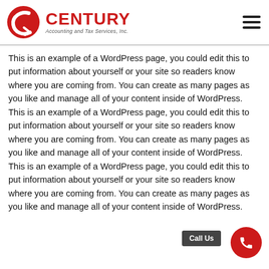CENTURY Accounting and Tax Services, Inc.
This is an example of a WordPress page, you could edit this to put information about yourself or your site so readers know where you are coming from. You can create as many pages as you like and manage all of your content inside of WordPress. This is an example of a WordPress page, you could edit this to put information about yourself or your site so readers know where you are coming from. You can create as many pages as you like and manage all of your content inside of WordPress.
This is an example of a WordPress page, you could edit this to put information about yourself or your site so readers know where you are coming from. You can create as many pages as you like and manage all of your content inside of WordPress.